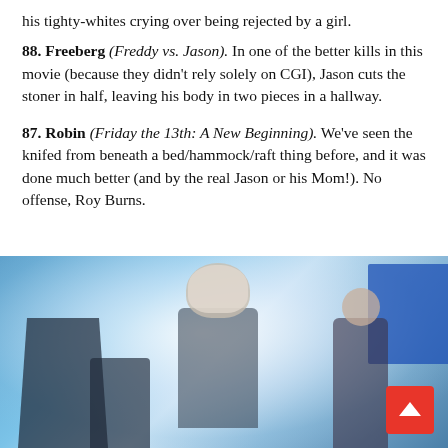his tighty-whites crying over being rejected by a girl.
88. Freeberg (Freddy vs. Jason). In one of the better kills in this movie (because they didn't rely solely on CGI), Jason cuts the stoner in half, leaving his body in two pieces in a hallway.
87. Robin (Friday the 13th: A New Beginning). We've seen the knifed from beneath a bed/hammock/raft thing before, and it was done much better (and by the real Jason or his Mom!). No offense, Roy Burns.
[Figure (photo): A movie still showing Jason in his hockey mask surrounded by white smoke/mist, with another person visible to the right, and dark silhouettes of chairs/furniture in the foreground. A blue rectangle is visible in the upper right. A red scroll-to-top button is in the lower right corner.]